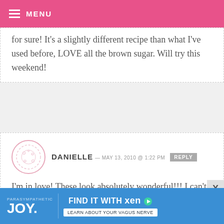MENU
for sure! It's a slightly different recipe than what I've used before, LOVE all the brown sugar. Will try this weekend!
DANIELLE — MAY 13, 2010 @ 1:22 PM REPLY
I'm in love! These look absolutely wonderful!!! I can't wait to bake them. Thanks for your amazing website, recipes and pictures. You are the highlight of my week!
[Figure (infographic): Advertisement banner for Parasympathetic JOY — Find it with Xen. Learn about your vagus nerve.]